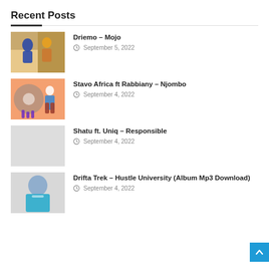Recent Posts
Driemo – Mojo
September 5, 2022
Stavo Africa ft Rabbiany – Njombo
September 4, 2022
Shatu ft. Uniq – Responsible
September 4, 2022
Drifta Trek – Hustle University (Album Mp3 Download)
September 4, 2022